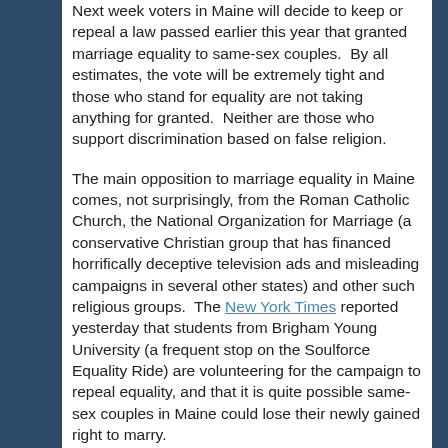Next week voters in Maine will decide to keep or repeal a law passed earlier this year that granted marriage equality to same-sex couples.  By all estimates, the vote will be extremely tight and those who stand for equality are not taking anything for granted.  Neither are those who support discrimination based on false religion.
The main opposition to marriage equality in Maine comes, not surprisingly, from the Roman Catholic Church, the National Organization for Marriage (a conservative Christian group that has financed horrifically deceptive television ads and misleading campaigns in several other states) and other such religious groups.  The New York Times reported yesterday that students from Brigham Young University (a frequent stop on the Soulforce Equality Ride) are volunteering for the campaign to repeal equality, and that it is quite possible same-sex couples in Maine could lose their newly gained right to marry.
Soulforce encourages everyone to support Protect Maine Equality as they work tirelessly in these final days of the campaign to insure that bigotry is defeated and fairness is